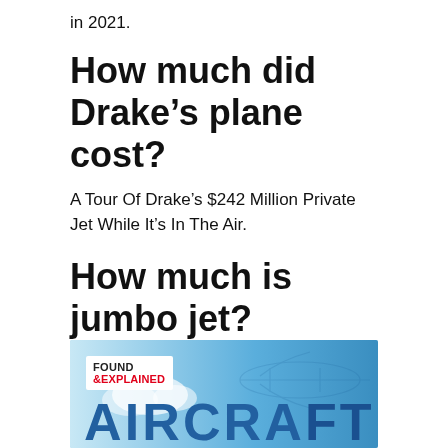in 2021.
How much did Drake’s plane cost?
A Tour Of Drake’s $242 Million Private Jet While It’s In The Air.
How much is jumbo jet?
COST. Today, the newest model of the 747, the 747-8, is on sale from Boeing for $386.8 million US. But if you are interested in buying a second hand 747-200, prices vary widely.
[Figure (illustration): Found & Explained branded image with large text reading AIRCRAFT partially visible, blue sky and airplane silhouette background]